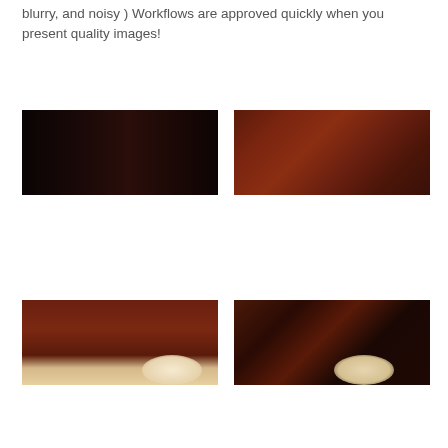blurry, and noisy ) Workflows are approved quickly when you present quality images!
[Figure (photo): Very dark, almost black photograph of wood cabinetry or furniture]
[Figure (photo): Rich reddish-brown wood panel cabinetry photograph]
[Figure (photo): Brown wood cabinetry with blurry light-colored element at bottom]
[Figure (photo): Dark noisy reddish-brown wood with blurry light element, heavily degraded image quality]